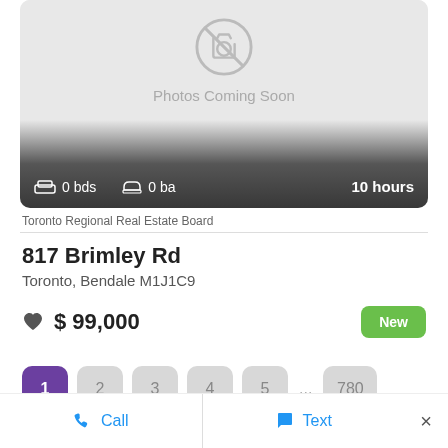[Figure (photo): Placeholder image showing a camera icon with strikethrough and text 'Photos Coming Soon'. Below that a dark gradient bar shows 0 bds, 0 ba, 10 hours.]
Toronto Regional Real Estate Board
817 Brimley Rd
Toronto, Bendale M1J1C9
$ 99,000
New
1 2 3 4 5 ... 780
Call
Text